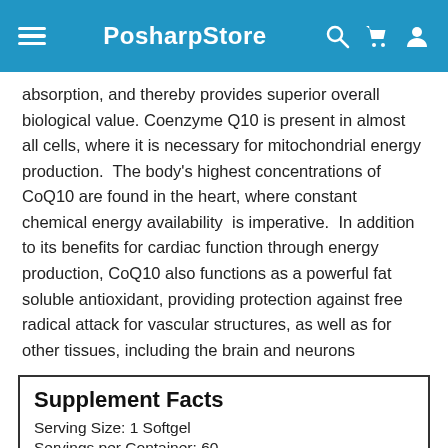PosharpStore
absorption, and thereby provides superior overall biological value. Coenzyme Q10 is present in almost all cells, where it is necessary for mitochondrial energy production. The body's highest concentrations of CoQ10 are found in the heart, where constant chemical energy availability is imperative. In addition to its benefits for cardiac function through energy production, CoQ10 also functions as a powerful fat soluble antioxidant, providing protection against free radical attack for vascular structures, as well as for other tissues, including the brain and neurons
|  | Amount Per Serving | % Daily Value |
| --- | --- | --- |
| Serving Size: 1 Softgel |  |  |
| Servings per Container: 60 |  |  |